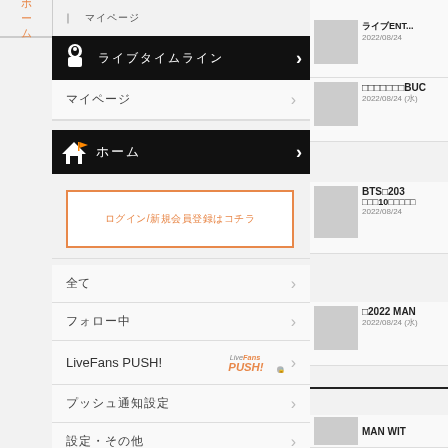ホーム | マイページ > ライブタイムライン
マイページ
ホーム
[Figure (screenshot): Orange bordered input/search box with Japanese placeholder text]
全て
フォロー中
LiveFans PUSH!
プッシュ通知設定
設定・その他
ログアウト
ライブENT...BUC 2022/08/24 (水)
BTS 203... 10... 2022/08/24
2022 MAN 2022/08/24 (水)
MAN WIT